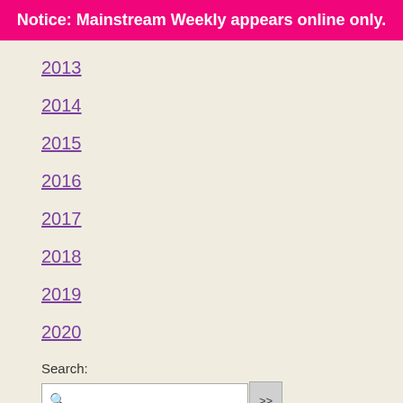Notice: Mainstream Weekly appears online only.
2013
2014
2015
2016
2017
2018
2019
2020
Search: